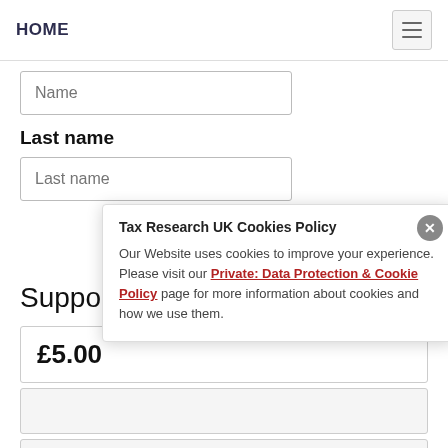HOME
[Figure (screenshot): Name input field (text box with placeholder 'Name')]
Last name
[Figure (screenshot): Last name input field (text box with placeholder 'Last name')]
[Figure (screenshot): Subscribe button]
Support Tax Research
£5.00
Tax Research UK Cookies Policy
Our Website uses cookies to improve your experience. Please visit our Private: Data Protection & Cookie Policy page for more information about cookies and how we use them.